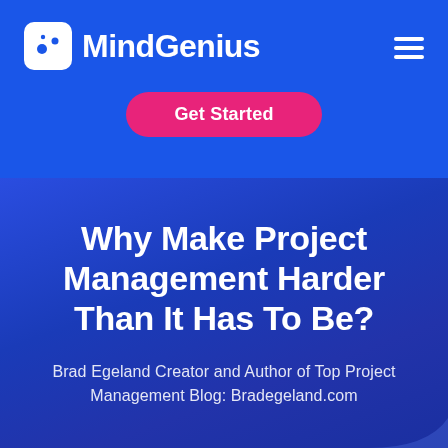[Figure (logo): MindGenius logo: white rounded square icon with dots pattern and white MindGenius text on blue background]
[Figure (other): Hamburger menu icon (three white horizontal lines) in top right corner]
Get Started
Why Make Project Management Harder Than It Has To Be?
Brad Egeland Creator and Author of Top Project Management Blog: Bradegeland.com